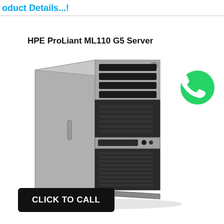oduct Details...!
HPE ProLiant ML110 G5 Server
[Figure (photo): HPE ProLiant ML110 G5 Server tower unit, silver and black chassis, shown at an angle with front panel visible including drive bays and vents]
[Figure (logo): WhatsApp logo — green circle with white phone handset icon]
CLICK TO CALL